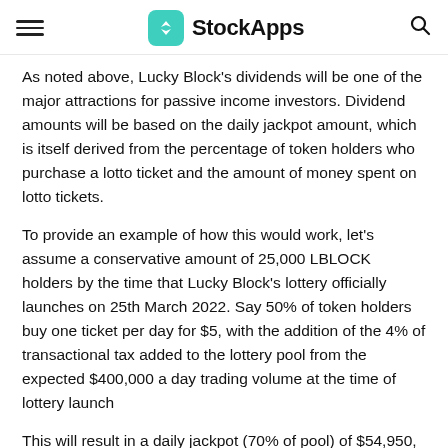StockApps
As noted above, Lucky Block's dividends will be one of the major attractions for passive income investors. Dividend amounts will be based on the daily jackpot amount, which is itself derived from the percentage of token holders who purchase a lotto ticket and the amount of money spent on lotto tickets.
To provide an example of how this would work, let's assume a conservative amount of 25,000 LBLOCK holders by the time that Lucky Block's lottery officially launches on 25th March 2022. Say 50% of token holders buy one ticket per day for $5, with the addition of the 4% of transactional tax added to the lottery pool from the expected $400,000 a day trading volume at the time of lottery launch
This will result in a daily jackpot (70% of pool) of $54,950, a daily charity donation (10% of pool) of $7,850, and a 19.1% dividend PA via jackpot distribution to holders